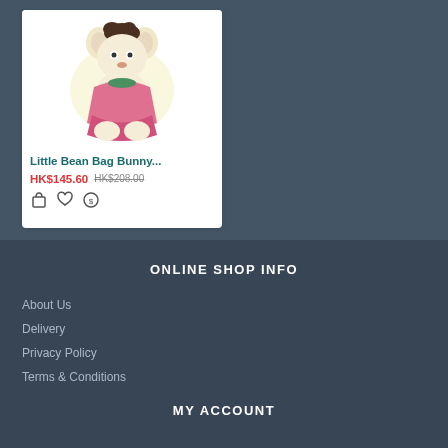[Figure (photo): Stuffed bunny/bear toy wearing a pink dress, sitting upright, with dark hair on top]
Little Bean Bag Bunny...
HK$145.60 HK$208.00
ONLINE SHOP INFO
About Us
Delivery
Privacy Policy
Terms & Conditions
MY ACCOUNT